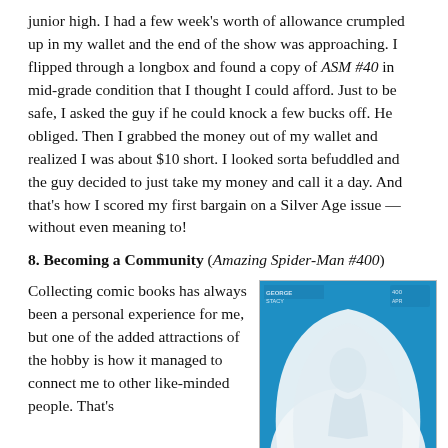junior high. I had a few week's worth of allowance crumpled up in my wallet and the end of the show was approaching. I flipped through a longbox and found a copy of ASM #40 in mid-grade condition that I thought I could afford. Just to be safe, I asked the guy if he could knock a few bucks off. He obliged. Then I grabbed the money out of my wallet and realized I was about $10 short. I looked sorta befuddled and the guy decided to just take my money and call it a day. And that's how I scored my first bargain on a Silver Age issue — without even meaning to!
8. Becoming a Community (Amazing Spider-Man #400)
Collecting comic books has always been a personal experience for me, but one of the added attractions of the hobby is how it managed to connect me to other like-minded people. That's
[Figure (photo): Cover of Amazing Spider-Man #400, showing a white embossed/sculpted figure on a blue background. The cover appears to be an embossed foil or textured cover with a dome shape and figure detail.]